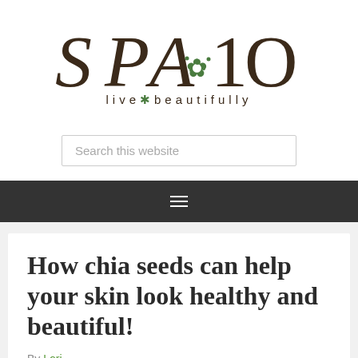[Figure (logo): SPA*10 logo with decorative serif lettering in dark brown and a green star/asterisk symbol, tagline 'live*beautifully' below]
Search this website
[Figure (other): Dark navigation bar with hamburger menu icon (three horizontal lines)]
How chia seeds can help your skin look healthy and beautiful!
By Lori